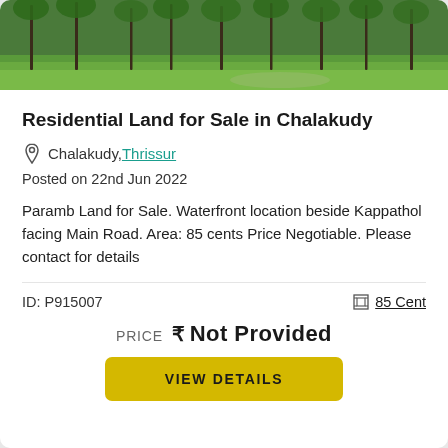[Figure (photo): Aerial or ground-level photo of a green forested land with tall trees and grassy ground, outdoor property photo]
Residential Land for Sale in Chalakudy
Chalakudy, Thrissur
Posted on 22nd Jun 2022
Paramb Land for Sale. Waterfront location beside Kappathol facing Main Road. Area: 85 cents Price Negotiable. Please contact for details
ID: P915007
85 Cent
PRICE ₹ Not Provided
VIEW DETAILS